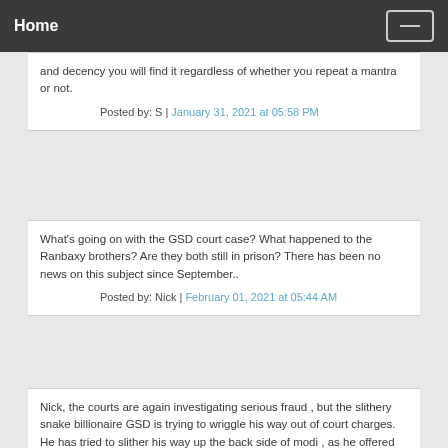Home
and decency you will find it regardless of whether you repeat a mantra or not.
Posted by: S | January 31, 2021 at 05:58 PM
What's going on with the GSD court case? What happened to the Ranbaxy brothers? Are they both still in prison? There has been no news on this subject since September..
Posted by: Nick | February 01, 2021 at 05:44 AM
Nick, the courts are again investigating serious fraud , but the slithery snake billionaire GSD is trying to wriggle his way out of court charges. He has tried to slither his way up the back side of modi , as he offered dera for covid patients. Was it for love, or favours in the future, you